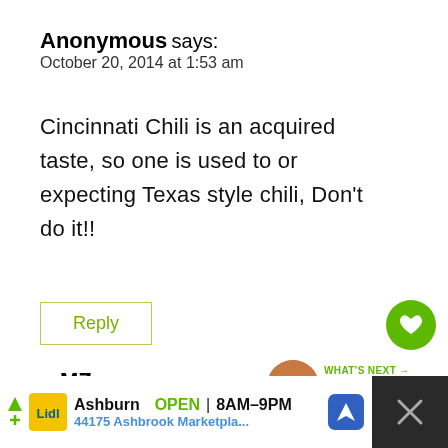Anonymous says:
October 20, 2014 at 1:53 am
Cincinnati Chili is an acquired taste, so one is used to or expecting Texas style chili, Don't do it!!
Reply
10
WHAT'S NEXT → 25 Best Chili Recipes
MZ says:
January 3, 2020 at 12:08 am
Ashburn  OPEN | 8AM–9PM
44175 Ashbrook Marketpla...